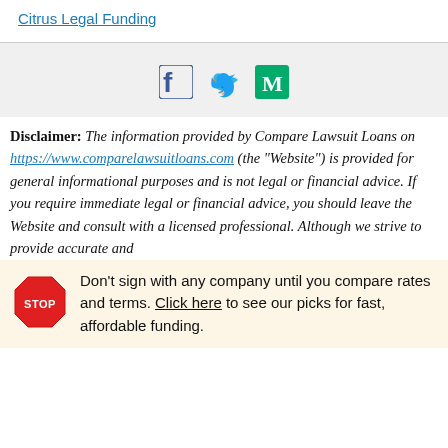Citrus Legal Funding
[Figure (other): Social media share icons: Facebook, Twitter, Medium]
Disclaimer: The information provided by Compare Lawsuit Loans on https://www.comparelawsuitloans.com (the "Website") is provided for general informational purposes and is not legal or financial advice. If you require immediate legal or financial advice, you should leave the Website and consult with a licensed professional. Although we strive to provide accurate and
Don't sign with any company until you compare rates and terms. Click here to see our picks for fast, affordable funding.